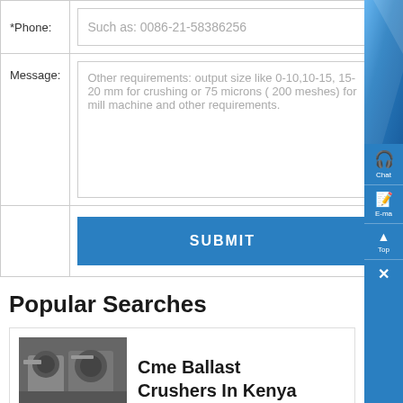| *Phone: | Such as: 0086-21-58386256 |
| Message: | Other requirements: output size like 0-10,10-15, 15-20 mm for crushing or 75 microns ( 200 meshes) for mill machine and other requirements. |
|  | SUBMIT |
Popular Searches
[Figure (photo): Industrial crushing machine or ballast crusher machinery]
Cme Ballast Crushers In Kenya